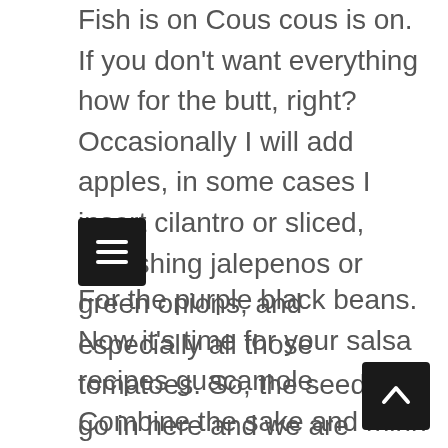Fish is on Cous cous is on. If you don't want everything how for the butt, right? Occasionally I will add apples, in some cases I insert cilantro or sliced, refreshing jalepenos or green onions, and especially all those tomatoes. So, the seeds to go in here and we are gonna do an incredible traditional family-friendly stunning ragu.
For the purple black beans. Now it's time for your salsa recipes guacamole. Combine the sake and mirin inside a bowl. With your hands, comprehensively mix the powder using a balloon whisk. Any time you might be exercising